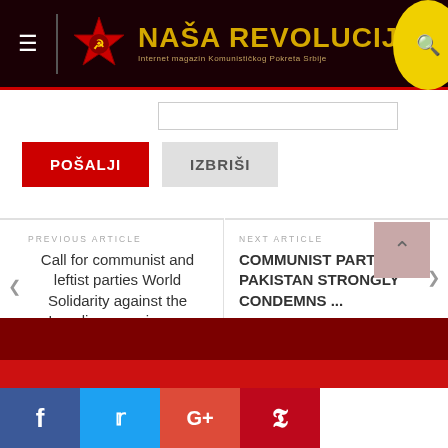NAŠA REVOLUCIJA — Internet magazin Komunističkog Pokreta Srbije
[Figure (screenshot): Search input box]
POŠALJI
IZBRIŠI
PREVIOUS ARTICLE — Call for communist and leftist parties World Solidarity against the Israeli aggression on
NEXT ARTICLE — COMMUNIST PARTY OF PAKISTAN STRONGLY CONDEMNS ...
f  t  G+  p (social share buttons)